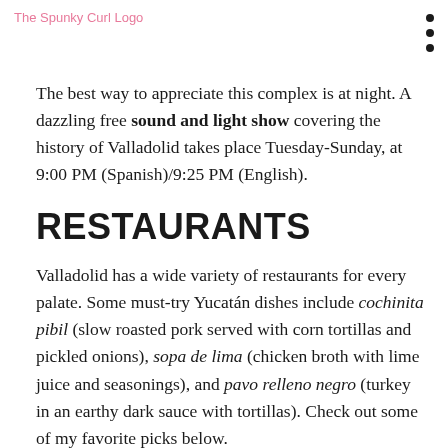The Spunky Curl Logo
The best way to appreciate this complex is at night. A dazzling free sound and light show covering the history of Valladolid takes place Tuesday-Sunday, at 9:00 PM (Spanish)/9:25 PM (English).
RESTAURANTS
Valladolid has a wide variety of restaurants for every palate. Some must-try Yucatán dishes include cochinita pibil (slow roasted pork served with corn tortillas and pickled onions), sopa de lima (chicken broth with lime juice and seasonings), and pavo relleno negro (turkey in an earthy dark sauce with tortillas). Check out some of my favorite picks below.
Breakfast - X-Mahana serves authentic and hearty food in